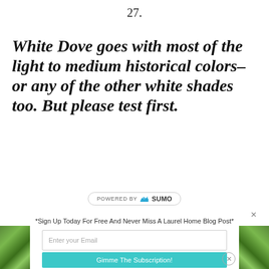27.
White Dove goes with most of the light to medium historical colors– or any of the other white shades too. But please test first.
[Figure (logo): POWERED BY SUMO badge/logo in rounded rectangle border]
*Sign Up Today For Free And Never Miss A Laurel Home Blog Post*
[Figure (photo): Green leafy tree photo on left side]
[Figure (photo): Green leafy tree photo on right side]
Enter your Email
Gimme The Subscription!